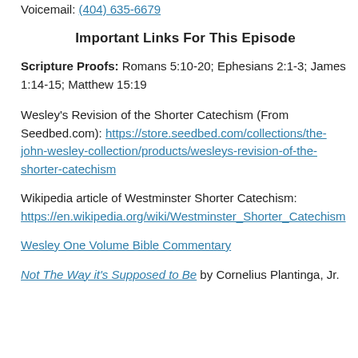Voicemail: (404) 635-6679
Important Links For This Episode
Scripture Proofs: Romans 5:10-20; Ephesians 2:1-3; James 1:14-15; Matthew 15:19
Wesley's Revision of the Shorter Catechism (From Seedbed.com): https://store.seedbed.com/collections/the-john-wesley-collection/products/wesleys-revision-of-the-shorter-catechism
Wikipedia article of Westminster Shorter Catechism: https://en.wikipedia.org/wiki/Westminster_Shorter_Catechism
Wesley One Volume Bible Commentary
Not The Way it's Supposed to Be by Cornelius Plantinga, Jr.